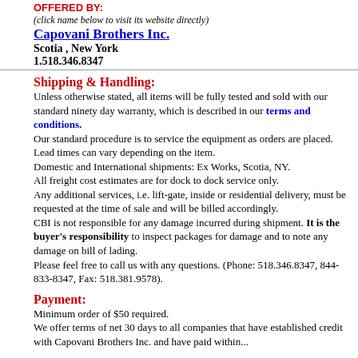OFFERED BY:
(click name below to visit its website directly)
Capovani Brothers Inc.
Scotia , New York
1.518.346.8347
Shipping & Handling:
Unless otherwise stated, all items will be fully tested and sold with our standard ninety day warranty, which is described in our terms and conditions.
Our standard procedure is to service the equipment as orders are placed. Lead times can vary depending on the item.
Domestic and International shipments: Ex Works, Scotia, NY.
All freight cost estimates are for dock to dock service only.
Any additional services, i.e. lift-gate, inside or residential delivery, must be requested at the time of sale and will be billed accordingly.
CBI is not responsible for any damage incurred during shipment. It is the buyer's responsibility to inspect packages for damage and to note any damage on bill of lading.
Please feel free to call us with any questions. (Phone: 518.346.8347, 844-833-8347, Fax: 518.381.9578).
Payment:
Minimum order of $50 required.
We offer terms of net 30 days to all companies that have established credit with Capovani Brothers Inc. and have paid within...